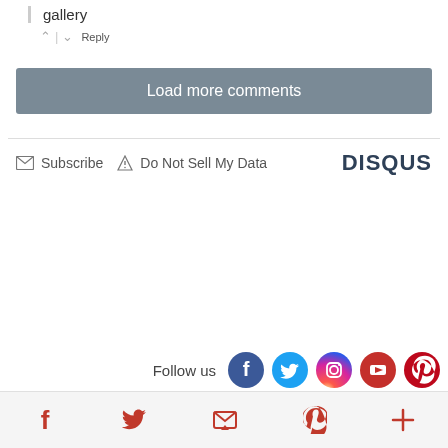gallery
^ | ˅  Reply
Load more comments
✉ Subscribe  ▲ Do Not Sell My Data  DISQUS
Follow us
[Figure (infographic): Social media follow icons: Facebook, Twitter, Instagram, YouTube, Pinterest]
Facebook, Twitter, Email/newsletter, Pinterest, More — bottom navigation bar icons